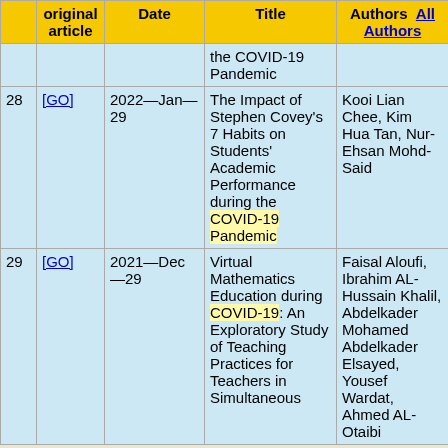|  | original article | Date | Title | Authors  All Authors |
| --- | --- | --- | --- | --- |
|  |  |  | the COVID-19 Pandemic |  |
| 28 | [GO] | 2022—Jan—29 | The Impact of Stephen Covey's 7 Habits on Students' Academic Performance during the COVID-19 Pandemic | Kooi Lian Chee, Kim Hua Tan, Nur-Ehsan Mohd-Said |
| 29 | [GO] | 2021—Dec—29 | Virtual Mathematics Education during COVID-19: An Exploratory Study of Teaching Practices for Teachers in Simultaneous... | Faisal Aloufi, Ibrahim AL-Hussain Khalil, Abdelkader Mohamed Abdelkader Elsayed, Yousef Wardat, Ahmed AL-Otaibi |